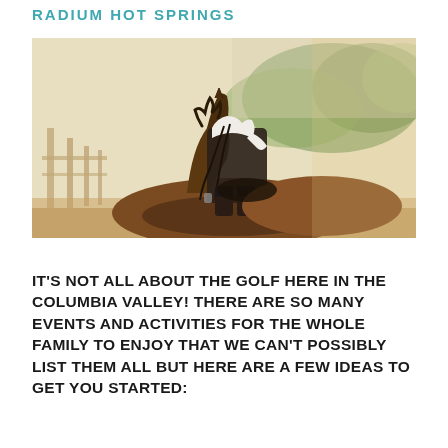RADIUM HOT SPRINGS
[Figure (photo): Person riding a horse from behind, showing the rider's back and the horse's head and neck, with a fence and trees in the blurred background. Outdoor equestrian setting.]
IT'S NOT ALL ABOUT THE GOLF HERE IN THE COLUMBIA VALLEY! THERE ARE SO MANY EVENTS AND ACTIVITIES FOR THE WHOLE FAMILY TO ENJOY THAT WE CAN'T POSSIBLY LIST THEM ALL BUT HERE ARE A FEW IDEAS TO GET YOU STARTED: